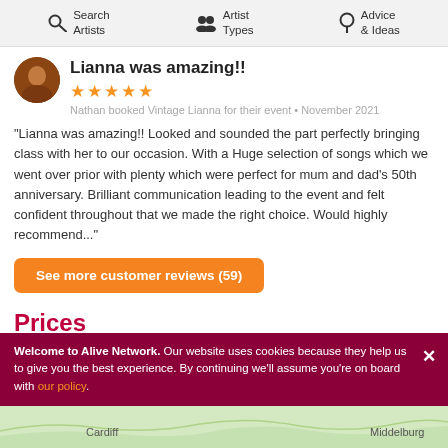Search Artists | Artist Types | Advice & Ideas
Lianna was amazing!!
★★★★★
Nathan booked Vintage Lianna for their event • November 2021
"Lianna was amazing!! Looked and sounded the part perfectly bringing class with her to our occasion. With a Huge selection of songs which we went over prior with plenty which were perfect for mum and dad's 50th anniversary. Brilliant communication leading to the event and felt confident throughout that we made the right choice. Would highly recommend..."
See more customer reviews (59)
Prices
Welcome to Alive Network. Our website uses cookies because they help us to give you the best experience. By continuing we'll assume you're on board with our policy.
[Figure (map): Partial map showing Cardiff and Middelburg labels]